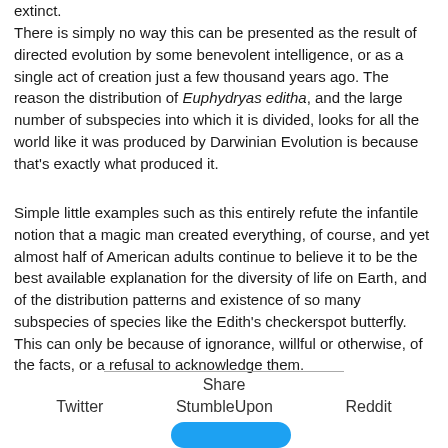extinct.
There is simply no way this can be presented as the result of directed evolution by some benevolent intelligence, or as a single act of creation just a few thousand years ago. The reason the distribution of Euphydryas editha, and the large number of subspecies into which it is divided, looks for all the world like it was produced by Darwinian Evolution is because that's exactly what produced it.
Simple little examples such as this entirely refute the infantile notion that a magic man created everything, of course, and yet almost half of American adults continue to believe it to be the best available explanation for the diversity of life on Earth, and of the distribution patterns and existence of so many subspecies of species like the Edith's checkerspot butterfly. This can only be because of ignorance, willful or otherwise, of the facts, or a refusal to acknowledge them.
Share
Twitter  StumbleUpon  Reddit